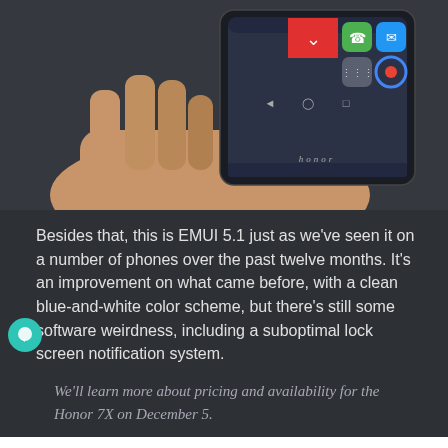[Figure (photo): A hand holding a Huawei Honor smartphone showing the home screen with app icons and a red notification dropdown. The phone has the Honor branding visible at the bottom of the screen.]
Besides that, this is EMUI 5.1 just as we've seen it on a number of phones over the past twelve months. It's an improvement on what came before, with a clean blue-and-white color scheme, but there's still some software weirdness, including a suboptimal lock screen notification system.
We'll learn more about pricing and availability for the Honor 7X on December 5.
SYDNEY CBD REPAIR CENTRE MENU ≡